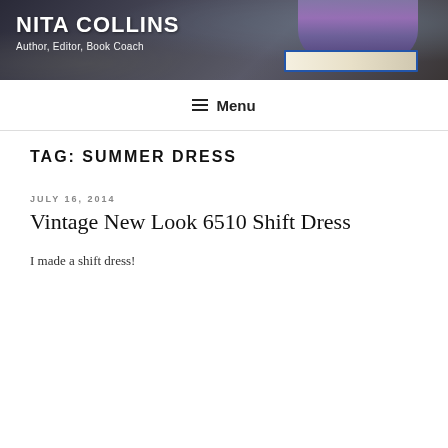[Figure (photo): Header banner with dark background showing stones/rocks and lavender flowers on top of books on the right side]
NITA COLLINS
Author, Editor, Book Coach
≡ Menu
TAG: SUMMER DRESS
JULY 16, 2014
Vintage New Look 6510 Shift Dress
I made a shift dress!